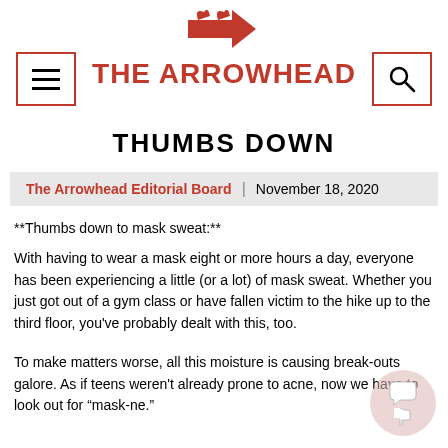THE ARROWHEAD
THUMBS DOWN
The Arrowhead Editorial Board | November 18, 2020
**Thumbs down to mask sweat:**
With having to wear a mask eight or more hours a day, everyone has been experiencing a little (or a lot) of mask sweat. Whether you just got out of a gym class or have fallen victim to the hike up to the third floor, you've probably dealt with this, too.
To make matters worse, all this moisture is causing break-outs galore. As if teens weren't already prone to acne, now we have to look out for “mask-ne.”